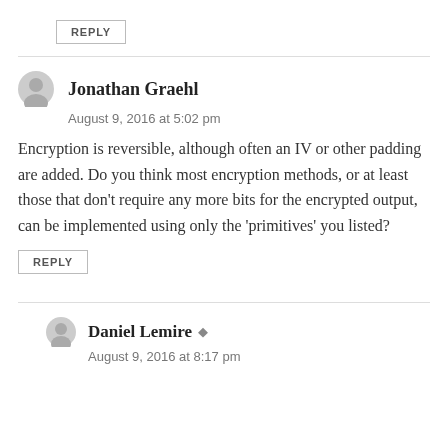REPLY
Jonathan Graehl
August 9, 2016 at 5:02 pm
Encryption is reversible, although often an IV or other padding are added. Do you think most encryption methods, or at least those that don’t require any more bits for the encrypted output, can be implemented using only the ‘primitives’ you listed?
REPLY
Daniel Lemire
August 9, 2016 at 8:17 pm